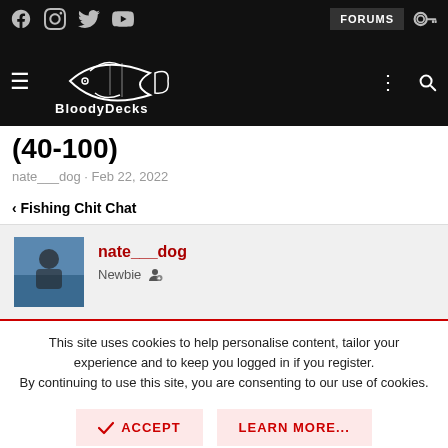BlooodyDecks - Forums navigation header with social icons, FORUMS button, logo, hamburger menu, search
(40-100)
nate___dog · Feb 22, 2022
< Fishing Chit Chat
nate___dog
Newbie
This site uses cookies to help personalise content, tailor your experience and to keep you logged in if you register.
By continuing to use this site, you are consenting to our use of cookies.
✓ ACCEPT    LEARN MORE...